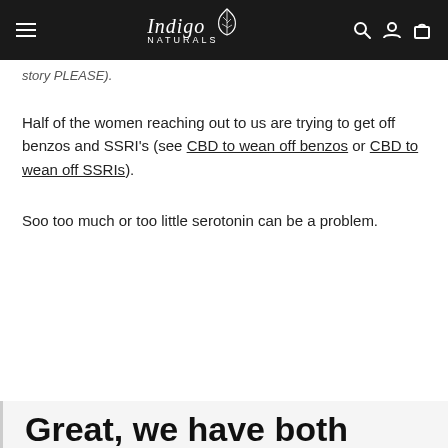Indigo Naturals
story PLEASE).
Half of the women reaching out to us are trying to get off benzos and SSRI's (see CBD to wean off benzos or CBD to wean off SSRIs).
Soo too much or too little serotonin can be a problem.
Great, we have both